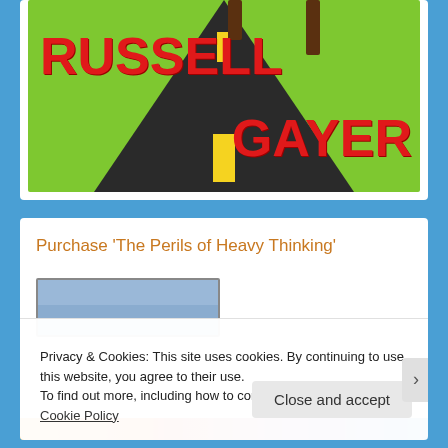[Figure (illustration): Book cover for Russell Gayer showing a road perspective on green background with red bold text 'RUSSELL GAYER' and yellow road markings]
Purchase ‘The Perils of Heavy Thinking’
[Figure (screenshot): Partial thumbnail of book cover for 'The Perils of Heavy Thinking']
Privacy & Cookies: This site uses cookies. By continuing to use this website, you agree to their use.
To find out more, including how to control cookies, see here: Cookie Policy
Close and accept